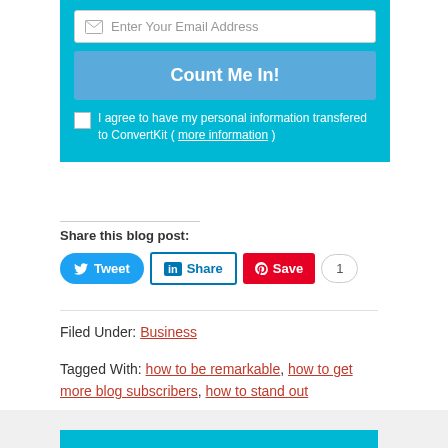[Figure (screenshot): Email subscription form with cyan background, email input field, 'Count Me In!' button, and consent checkbox]
Share this blog post:
[Figure (screenshot): Social sharing buttons: Tweet (Twitter), Share (LinkedIn), Save (Pinterest) with count badge showing 1]
Filed Under: Business
Tagged With: how to be remarkable, how to get more blog subscribers, how to stand out